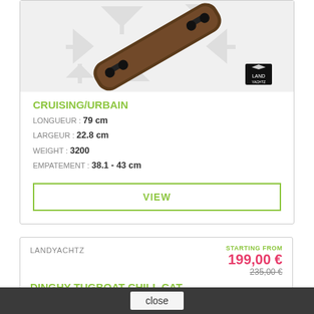[Figure (photo): Landyachtz cruising/urbain longboard skateboard shown diagonally on a white background with grey recycling arrows, with Landyachtz logo in bottom right.]
CRUISING/URBAIN
LONGUEUR : 79 cm
LARGEUR : 22.8 cm
WEIGHT : 3200
EMPATEMENT : 38.1 - 43 cm
VIEW
LANDYACHTZ
STARTING FROM
199,00 €
235,00 €
DINGHY TUGBOAT CHILL CAT COMPLÈTE
PROMO -15%
[Figure (photo): Partial view of a Dinghy Tugboat Chill Cat skateboard complète with blue truck visible.]
close